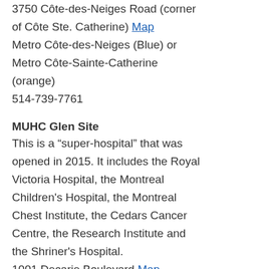3750 Côte-des-Neiges Road (corner of Côte Ste. Catherine) Map
Metro Côte-des-Neiges (Blue) or Metro Côte-Sainte-Catherine (orange)
514-739-7761
MUHC Glen Site
This is a “super-hospital” that was opened in 2015. It includes the Royal Victoria Hospital, the Montreal Children's Hospital, the Montreal Chest Institute, the Cedars Cancer Centre, the Research Institute and the Shriner's Hospital.
1001 Decarie Boulevard Map
Metro Vendôme (orange)
514-934-1934